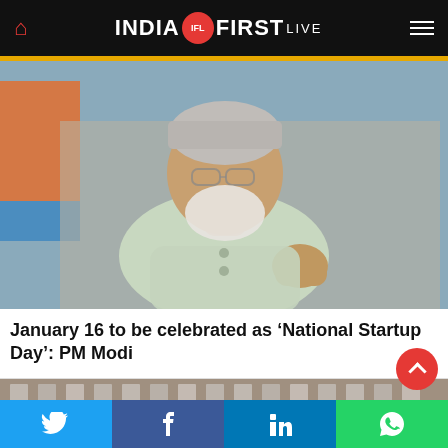INDIA IFL FIRST LIVE
[Figure (photo): PM Modi speaking, gesturing with fist, wearing a light green sleeveless jacket, with Indian flag visible in background]
January 16 to be celebrated as ‘National Startup Day’: PM Modi
[Figure (photo): Partial view of a building exterior with red brick architecture]
Twitter | Facebook | LinkedIn | WhatsApp